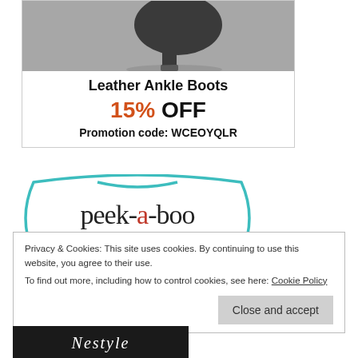[Figure (photo): Advertisement for Leather Ankle Boots showing a dark leather boot against a concrete background, with text overlay: 'Leather Ankle Boots 15% OFF Promotion code: WCEOYQLR']
[Figure (logo): Peek-a-boo Pattern Shop logo inside a teal decorative border]
Privacy & Cookies: This site uses cookies. By continuing to use this website, you agree to their use.
To find out more, including how to control cookies, see here: Cookie Policy
[Figure (logo): Partially visible logo at the bottom of the page]